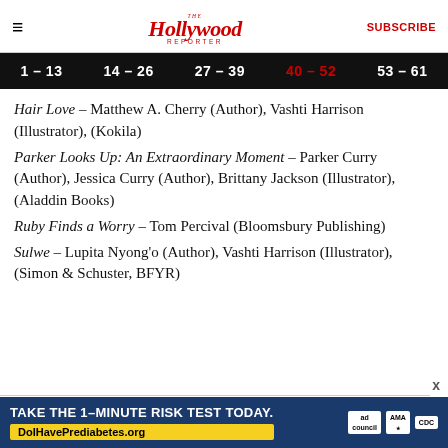The Hollywood Reporter | SUBSCRIBE
1 - 13 | 14 - 26 | 27 - 39 | 40 - 52 | 53 - 61
Hair Love – Matthew A. Cherry (Author), Vashti Harrison (Illustrator), (Kokila)
Parker Looks Up: An Extraordinary Moment – Parker Curry (Author), Jessica Curry (Author), Brittany Jackson (Illustrator), (Aladdin Books)
Ruby Finds a Worry – Tom Percival (Bloomsbury Publishing)
Sulwe – Lupita Nyong'o (Author), Vashti Harrison (Illustrator), (Simon & Schuster, BFYR)
[Figure (infographic): Advertisement: Take the 1-Minute Risk Test Today. DolHavePrediabetes.org with ad council, AMA, and CDC logos.]